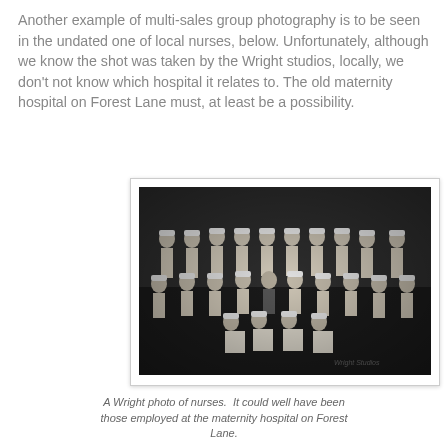Another example of multi-sales group photography is to be seen in the undated one of local nurses, below. Unfortunately, although we know the shot was taken by the Wright studios, locally, we don't not know which hospital it relates to. The old maternity hospital on Forest Lane must, at least be a possibility.
[Figure (photo): Black and white group photograph of nurses in uniform, arranged in three rows outdoors. The nurses are wearing white uniforms and caps typical of early-to-mid 20th century nursing attire. A photographer's watermark is visible in the bottom right corner.]
A Wright photo of nurses. It could well have been those employed at the maternity hospital on Forest Lane.